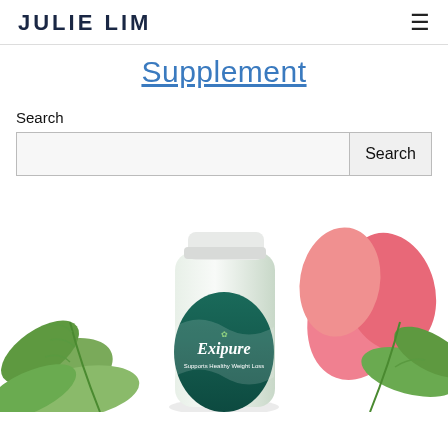JULIE LIM
Supplement
Search
[Figure (photo): Exipure supplement bottle with botanical/floral decorative elements including green leaves, ferns, and pink hibiscus flowers. The bottle is white and teal/dark green labeled 'Exipure Supports Healthy Weight Loss'.]